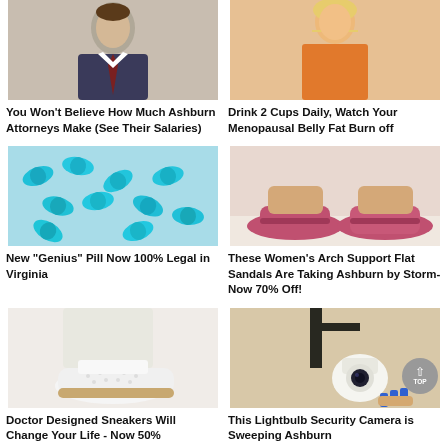[Figure (photo): Man in suit - attorney]
You Won't Believe How Much Ashburn Attorneys Make (See Their Salaries)
[Figure (photo): Woman in orange top - menopausal belly fat article]
Drink 2 Cups Daily, Watch Your Menopausal Belly Fat Burn off
[Figure (photo): Teal/blue capsule pills]
New "Genius" Pill Now 100% Legal in Virginia
[Figure (photo): Pink women's flat arch support sandals]
These Women's Arch Support Flat Sandals Are Taking Ashburn by Storm- Now 70% Off!
[Figure (photo): White perforated sneakers on woman's feet]
Doctor Designed Sneakers Will Change Your Life - Now 50%
[Figure (photo): Lightbulb security camera]
This Lightbulb Security Camera is Sweeping Ashburn